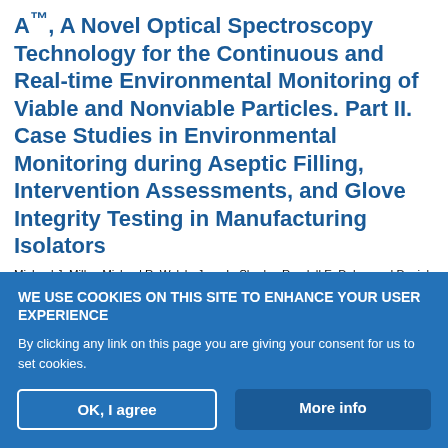A™, A Novel Optical Spectroscopy Technology for the Continuous and Real-time Environmental Monitoring of Viable and Nonviable Particles. Part II. Case Studies in Environmental Monitoring during Aseptic Filling, Intervention Assessments, and Glove Integrity Testing in Manufacturing Isolators
Michael J. Miller, Michael R. Walsh, Jerry L. Shrake, Randall E. Dukes and Daniel B. Hill
PDA Journal of Pharmaceutical Science and Technology May 2009, 63
WE USE COOKIES ON THIS SITE TO ENHANCE YOUR USER EXPERIENCE
By clicking any link on this page you are giving your consent for us to set cookies.